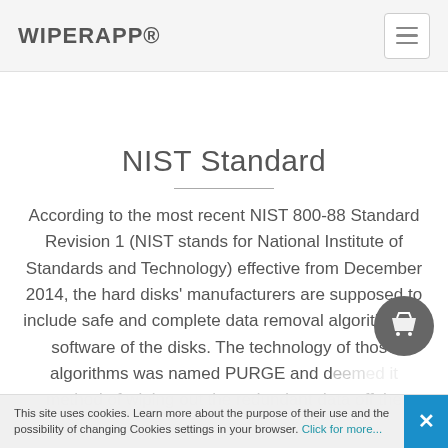WIPERAPP®
NIST Standard
According to the most recent NIST 800-88 Standard Revision 1 (NIST stands for National Institute of Standards and Technology) effective from December 2014, the hard disks' manufacturers are supposed to include safe and complete data removal algorithms in software of the disks. The technology of those algorithms was named PURGE and deemed it method of wiping out the redundant data off the
This site uses cookies. Learn more about the purpose of their use and the possibility of changing Cookies settings in your browser. Click for more...